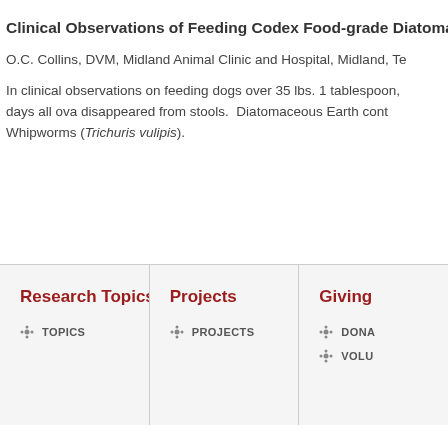Clinical Observations of Feeding Codex Food-grade Diatomaceou
O.C. Collins, DVM, Midland Animal Clinic and Hospital, Midland, Te
In clinical observations on feeding dogs over 35 lbs. 1 tablespoon, days all ova disappeared from stools. Diatomaceous Earth cont Whipworms (Trichuris vulipis).
Research Topics
TOPICS
Projects
PROJECTS
Giving
DONA
VOLU